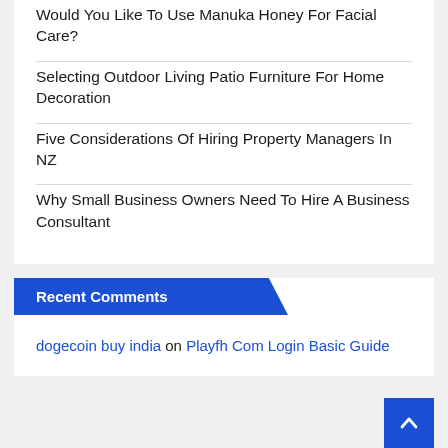Would You Like To Use Manuka Honey For Facial Care?
Selecting Outdoor Living Patio Furniture For Home Decoration
Five Considerations Of Hiring Property Managers In NZ
Why Small Business Owners Need To Hire A Business Consultant
Recent Comments
dogecoin buy india on Playfh Com Login Basic Guide